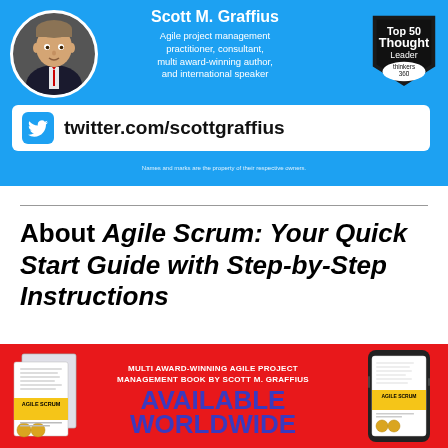[Figure (infographic): Blue banner with profile photo of Scott M. Graffius, name, bio text, Thinkers360 Top 50 Thought Leader badge, and Twitter handle box showing twitter.com/scottgraffius]
About Agile Scrum: Your Quick Start Guide with Step-by-Step Instructions
[Figure (infographic): Red banner advertising the Agile Scrum book, showing book cover images on left and right, and center text: MULTI AWARD-WINNING AGILE PROJECT MANAGEMENT BOOK BY SCOTT M. GRAFFIUS, AVAILABLE WORLDWIDE]